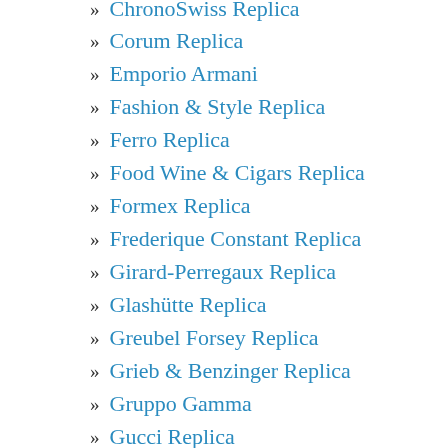» ChronoSwiss Replica
» Corum Replica
» Emporio Armani
» Fashion & Style Replica
» Ferro Replica
» Food Wine & Cigars Replica
» Formex Replica
» Frederique Constant Replica
» Girard-Perregaux Replica
» Glashütte Replica
» Greubel Forsey Replica
» Grieb & Benzinger Replica
» Gruppo Gamma
» Gucci Replica
» H. Moser & Cie Replica
» Hamilton Replica Watches
» Harry Winston Replica